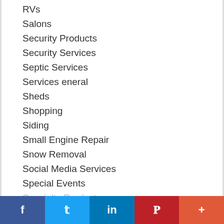RVs
Salons
Security Products
Security Services
Septic Services
Services eneral
Sheds
Shopping
Siding
Small Engine Repair
Snow Removal
Social Media Services
Special Events
Specialty Products